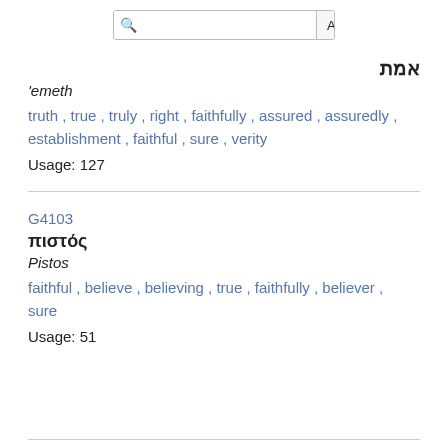[Figure (other): Search bar with magnifying glass icon and ALL button]
אמת
'emeth
truth , true , truly , right , faithfully , assured , assuredly , establishment , faithful , sure , verity
Usage: 127
G4103
πιστός
Pistos
faithful , believe , believing , true , faithfully , believer , sure
Usage: 51